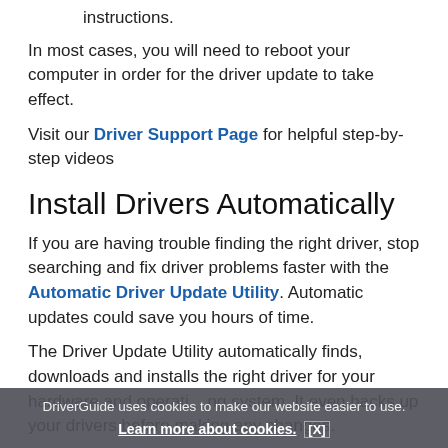instructions.
In most cases, you will need to reboot your computer in order for the driver update to take effect.
Visit our Driver Support Page for helpful step-by-step videos
Install Drivers Automatically
If you are having trouble finding the right driver, stop searching and fix driver problems faster with the Automatic Driver Update Utility. Automatic updates could save you hours of time.
The Driver Update Utility automatically finds, downloads and installs the right driver for your hardware and operating system. It even backs up your drivers before making any changes.
DriverGuide uses cookies to make our website easier to use. Learn more about cookies. [X]